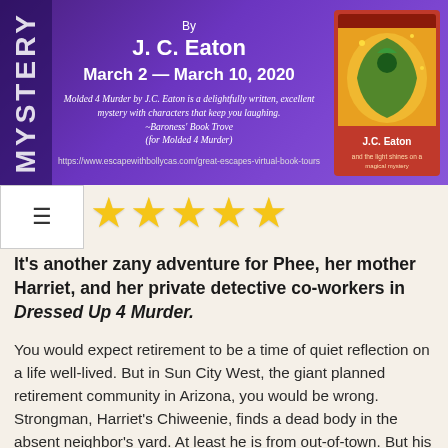[Figure (illustration): Book tour banner with purple gradient background, mystery vertical text on left side, 'By J. C. Eaton', dates 'March 2 — March 10, 2020', italic quote about Molded 4 Murder by Baroness' Book Trove, URL, and book cover image on right with dragon/fantasy illustration and J.C. Eaton label]
★★★★★
It's another zany adventure for Phee, her mother Harriet, and her private detective co-workers in Dressed Up 4 Murder.
You would expect retirement to be a time of quiet reflection on a life well-lived. But in Sun City West, the giant planned retirement community in Arizona, you would be wrong. Strongman, Harriet's Chiweenie, finds a dead body in the absent neighbor's yard. At least he is from out-of-town. But his murder method is uniquely Arizonian. [Since I live nearby, I looked it up and the method used is valid.] In the meantime, a snobby